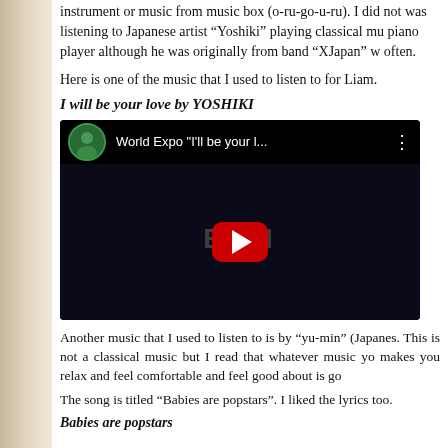instrument or music from music box (o-ru-go-u-ru). I did not was listening to Japanese artist “Yoshiki” playing classical mu piano player although he was originally from band “XJapan” w often.
Here is one of the music that I used to listen to for Liam.
I will be your love by YOSHIKI
[Figure (screenshot): YouTube video embed showing 'World Expo "I'll be your l...' with a red play button in the center on a dark background with EMI text watermark.]
Another music that I used to listen to is by “yu-min” (Japanes. This is not a classical music but I read that whatever music yo makes you relax and feel comfortable and feel good about is go
The song is titled “Babies are popstars”. I liked the lyrics too.
Babies are popstars